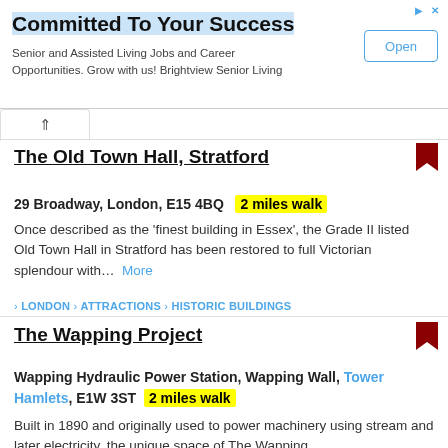[Figure (screenshot): Advertisement banner: 'Committed To Your Success' with Open button]
Committed To Your Success
Senior and Assisted Living Jobs and Career Opportunities. Grow with us! Brightview Senior Living
The Old Town Hall, Stratford
29 Broadway, London, E15 4BQ  2 miles walk
Once described as the 'finest building in Essex', the Grade II listed Old Town Hall in Stratford has been restored to full Victorian splendour with... More
> LONDON > ATTRACTIONS > HISTORIC BUILDINGS
The Wapping Project
Wapping Hydraulic Power Station, Wapping Wall, Tower Hamlets, E1W 3ST  2 miles walk
Built in 1890 and originally used to power machinery using stream and later electricity, the unique space of The Wapping